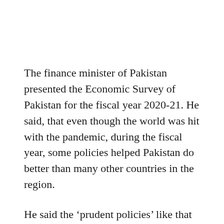The finance minister of Pakistan presented the Economic Survey of Pakistan for the fiscal year 2020-21. He said, that even though the world was hit with the pandemic, during the fiscal year, some policies helped Pakistan do better than many other countries in the region.
He said the 'prudent policies' like that of smart lockdown, effective fiscal and monetary policy coupled with the timely decisions taken by the formation of NCOC and its policies worked in the favor of the country.